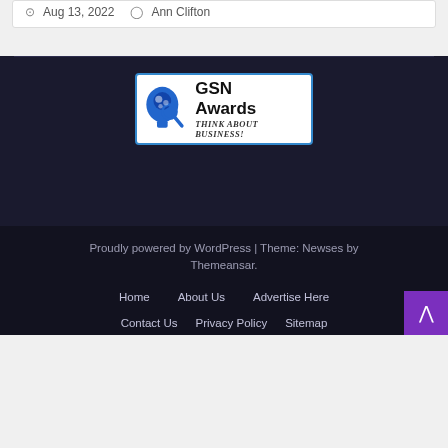Aug 13, 2022  Ann Clifton
[Figure (logo): GSN Awards logo with blue brain/magnifier icon and text 'GSN Awards THINK ABOUT BUSINESS!']
Proudly powered by WordPress | Theme: Newses by Themeansar.
Home
About Us
Advertise Here
Contact Us
Privacy Policy
Sitemap